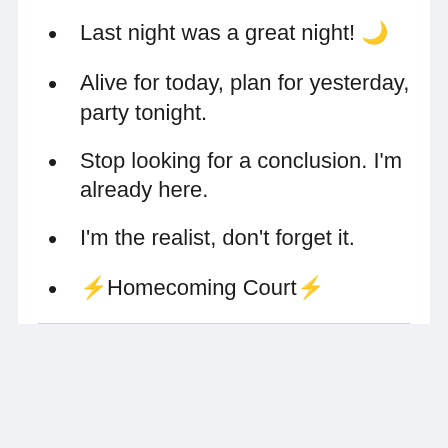Last night was a great night! 🌙
Alive for today, plan for yesterday, party tonight.
Stop looking for a conclusion. I'm already here.
I'm the realist, don't forget it.
⚡Homecoming Court⚡